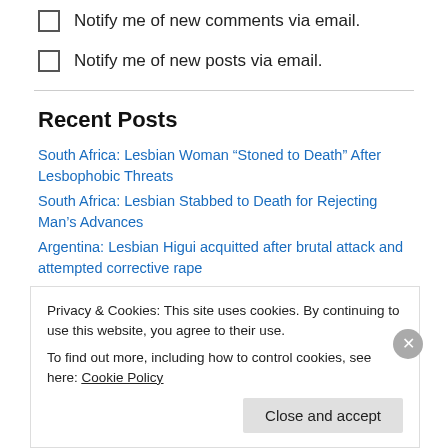Notify me of new comments via email.
Notify me of new posts via email.
Recent Posts
South Africa: Lesbian Woman “Stoned to Death” After Lesbophobic Threats
South Africa: Lesbian Stabbed to Death for Rejecting Man’s Advances
Argentina: Lesbian Higui acquitted after brutal attack and attempted corrective rape
Grave fears for lesbian basketballer Brittney Griner detained in Russia
Privacy & Cookies: This site uses cookies. By continuing to use this website, you agree to their use.
To find out more, including how to control cookies, see here: Cookie Policy
Close and accept